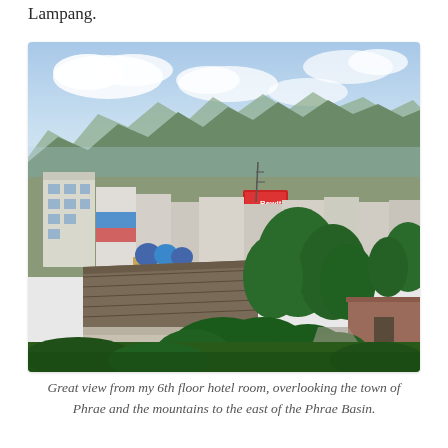Lampang.
[Figure (photo): Aerial view from a 6th floor hotel room overlooking the town of Phrae with buildings, trees, roads, blue water tanks on a tower structure, and mountains to the east forming the Phrae Basin backdrop under a partly cloudy sky.]
Great view from my 6th floor hotel room, overlooking the town of Phrae and the mountains to the east of the Phrae Basin.